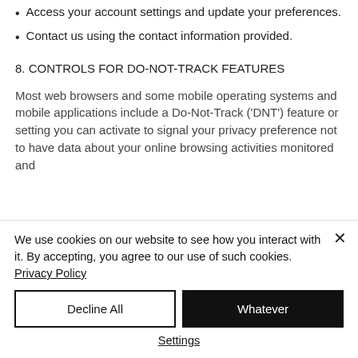Access your account settings and update your preferences.
Contact us using the contact information provided.
8. CONTROLS FOR DO-NOT-TRACK FEATURES
Most web browsers and some mobile operating systems and mobile applications include a Do-Not-Track ('DNT') feature or setting you can activate to signal your privacy preference not to have data about your online browsing activities monitored and
We use cookies on our website to see how you interact with it. By accepting, you agree to our use of such cookies. Privacy Policy
Decline All
Whatever
Settings